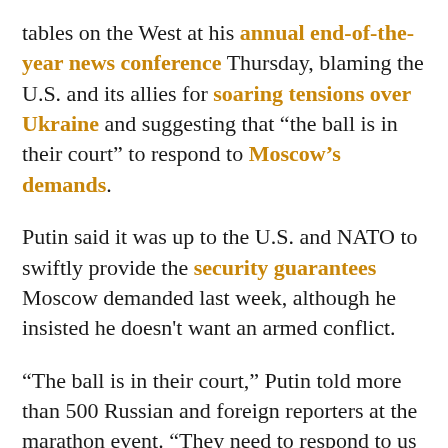tables on the West at his annual end-of-the-year news conference Thursday, blaming the U.S. and its allies for soaring tensions over Ukraine and suggesting that “the ball is in their court” to respond to Moscow’s demands.
Putin said it was up to the U.S. and NATO to swiftly provide the security guarantees Moscow demanded last week, although he insisted he doesn't want an armed conflict.
“The ball is in their court,” Putin told more than 500 Russian and foreign reporters at the marathon event. “They need to respond to us with something.”
Russia has massed 100,000 troops along the